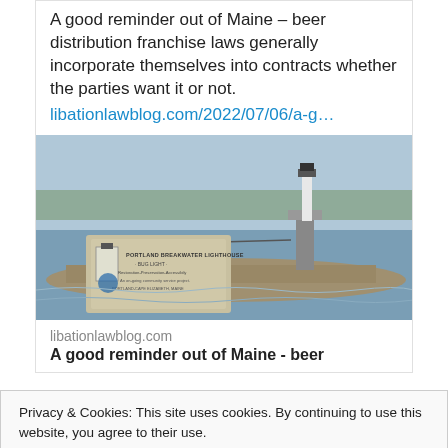A good reminder out of Maine – beer distribution franchise laws generally incorporate themselves into contracts whether the parties want it or not.
libationlawblog.com/2022/07/06/a-g…
[Figure (photo): Photo of Portland Breakwater Lighthouse (Bug Light) with a sign in the foreground reading 'PORTLAND BREAKWATER LIGHTHOUSE - BUG LIGHT - Restoration-Preservation-Accessibility An on-going community service project. PORTLAND-CAPE ELIZABETH, MAINE'. Rocky shoreline and water visible in background.]
libationlawblog.com
A good reminder out of Maine - beer
Privacy & Cookies: This site uses cookies. By continuing to use this website, you agree to their use.
To find out more, including how to control cookies, see here: Cookie Policy
Close and accept
@ashleywbra… · Jun 22